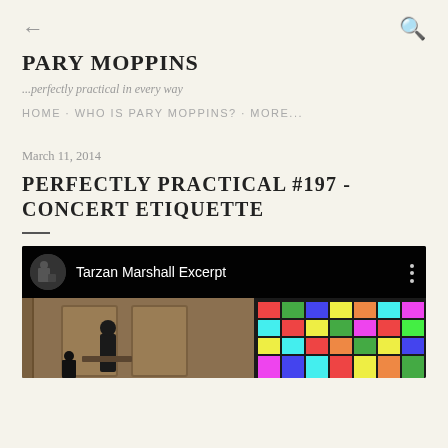← (back) Q (search)
PARY MOPPINS
...perfectly practical in every way
HOME · WHO IS PARY MOPPINS? · MORE...
March 11, 2014
PERFECTLY PRACTICAL #197 - CONCERT ETIQUETTE
[Figure (screenshot): YouTube video embed showing 'Tarzan Marshall Excerpt' with a dark topbar, a circular thumbnail, and a video scene showing a person at a podium in a church-like setting with a colorful stained glass window on the right.]